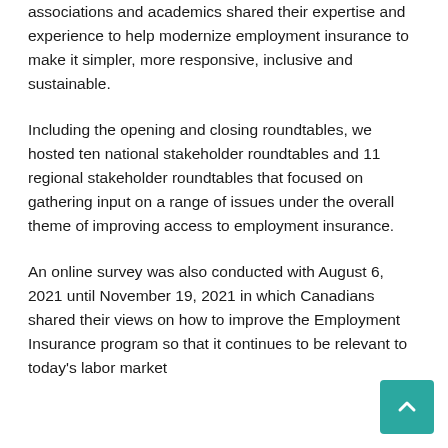associations and academics shared their expertise and experience to help modernize employment insurance to make it simpler, more responsive, inclusive and sustainable.
Including the opening and closing roundtables, we hosted ten national stakeholder roundtables and 11 regional stakeholder roundtables that focused on gathering input on a range of issues under the overall theme of improving access to employment insurance.
An online survey was also conducted with August 6, 2021 until November 19, 2021 in which Canadians shared their views on how to improve the Employment Insurance program so that it continues to be relevant to today's labor market